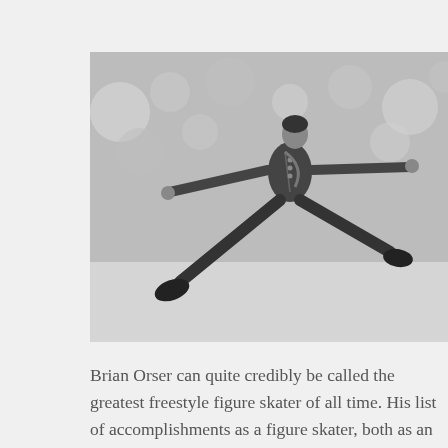[Figure (photo): Black and white photograph of Brian Orser, a figure skater, in mid-air performing a jump or split leap on ice. He is wearing a dark decorated costume with what appears to be medals or decorations. His arms are extended outward and his legs are spread wide. The background shows a blurred crowd.]
Brian Orser can quite credibly be called the greatest freestyle figure skater of all time. His list of accomplishments as a figure skater, both as an amateur and as a professional, attests to that. He won